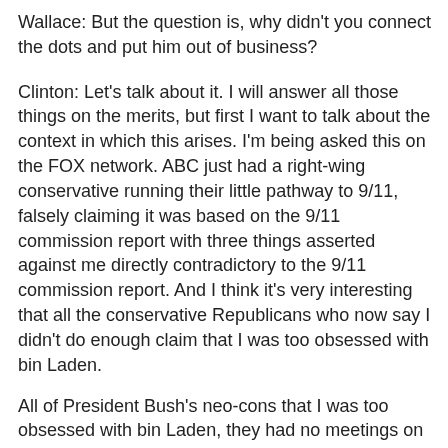Wallace: But the question is, why didn't you connect the dots and put him out of business?
Clinton: Let's talk about it. I will answer all those things on the merits, but first I want to talk about the context in which this arises. I'm being asked this on the FOX network. ABC just had a right-wing conservative running their little pathway to 9/11, falsely claiming it was based on the 9/11 commission report with three things asserted against me directly contradictory to the 9/11 commission report. And I think it's very interesting that all the conservative Republicans who now say I didn't do enough claim that I was too obsessed with bin Laden.
All of President Bush's neo-cons that I was too obsessed with bin Laden, they had no meetings on bin Laden for nine months after I left office. All the right wingers who now say I didn't do enough, said I did too much, the same people. They were all trying to get me to withdraw from Somalia in 1993 the next